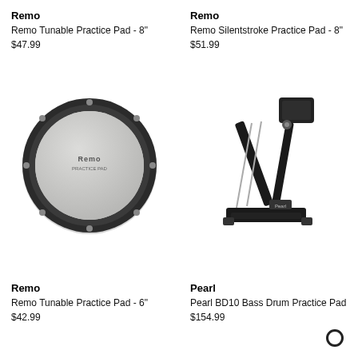Remo
Remo Tunable Practice Pad - 8"
$47.99
Remo
Remo Silentstroke Practice Pad - 8"
$51.99
[Figure (photo): Remo tunable practice pad, circular drum pad with dark rim and grey drumhead with Remo logo]
[Figure (photo): Pearl BD10 Bass Drum Practice Pad on a folding metal stand, shown in black finish]
Remo
Remo Tunable Practice Pad - 6"
$42.99
Pearl
Pearl BD10 Bass Drum Practice Pad
$154.99